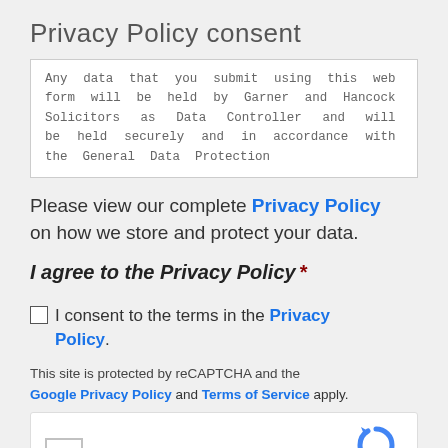Privacy Policy consent
Any data that you submit using this web form will be held by Garner and Hancock Solicitors as Data Controller and will be held securely and in accordance with the General Data Protection Regulation...
Please view our complete Privacy Policy on how we store and protect your data.
I agree to the Privacy Policy *
☐ I consent to the terms in the Privacy Policy.
This site is protected by reCAPTCHA and the Google Privacy Policy and Terms of Service apply.
[Figure (screenshot): reCAPTCHA widget with checkbox and 'I'm not a robot' label, with reCAPTCHA logo and Privacy/Terms links]